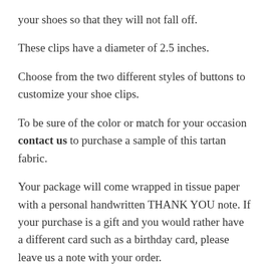your shoes so that they will not fall off.
These clips have a diameter of 2.5 inches.
Choose from the two different styles of buttons to customize your shoe clips.
To be sure of the color or match for your occasion contact us to purchase a sample of this tartan fabric.
Your package will come wrapped in tissue paper with a personal handwritten THANK YOU note. If your purchase is a gift and you would rather have a different card such as a birthday card, please leave us a note with your order.
This listing is for standard shipping with Canada Post and will be shipped from Canada. This listing does NOT come